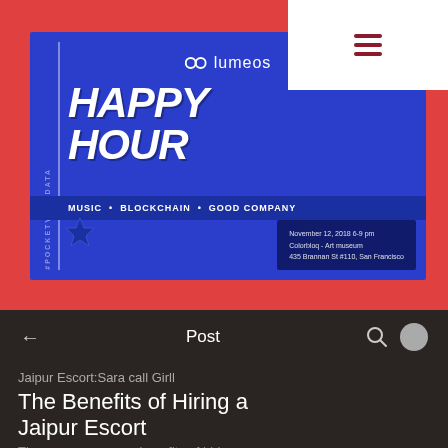[Figure (infographic): Lumeos Happy Hour event promotional banner. Blue background with text: HAPPY HOUR, MUSIC • BLOCKCHAIN • GOOD COMPANY. Event details: November 12, 2018 6-9 pm, Colorbloq - Art museum, 435 Brannan St #110, San Francisco. Vertical side text: #POCKETYOURDATA.]
Post
Lily Smith · Jun 06
Jaipur Escort:Sara call Girll
The Benefits of Hiring a Jaipur Escort
There are numerous benefits of hiring a